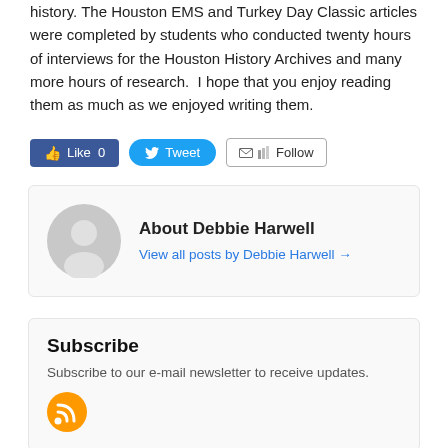history. The Houston EMS and Turkey Day Classic articles were completed by students who conducted twenty hours of interviews for the Houston History Archives and many more hours of research.  I hope that you enjoy reading them as much as we enjoyed writing them.
[Figure (screenshot): Social sharing buttons: Facebook Like (0), Twitter Tweet, and Follow button with email/RSS icons]
About Debbie Harwell
View all posts by Debbie Harwell →
Subscribe
Subscribe to our e-mail newsletter to receive updates.
[Figure (logo): Orange RSS feed icon]